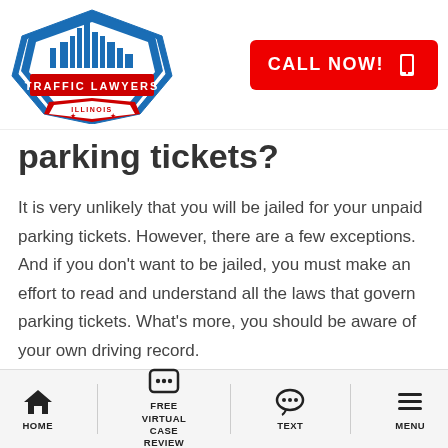[Figure (logo): Traffic Lawyers Illinois logo — hexagon shape with city skyline, red/blue colors, stars and text]
[Figure (other): Red 'CALL NOW!' button with phone icon]
parking tickets?
It is very unlikely that you will be jailed for your unpaid parking tickets. However, there are a few exceptions. And if you don't want to be jailed, you must make an effort to read and understand all the laws that govern parking tickets. What's more, you should be aware of your own driving record.
Some of the most common scenarios that might easily result in possible jail term include:
[Figure (other): Bottom navigation bar with Home, Free Virtual Case Review, Text, and Menu icons]